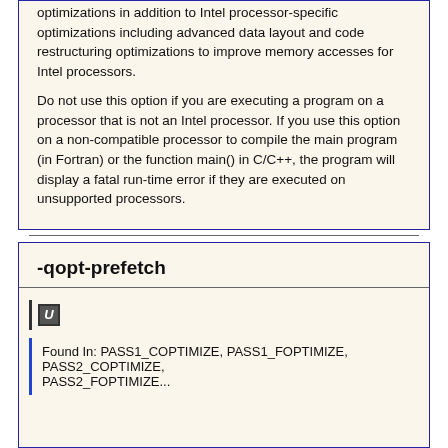optimizations in addition to Intel processor-specific optimizations including advanced data layout and code restructuring optimizations to improve memory accesses for Intel processors.
Do not use this option if you are executing a program on a processor that is not an Intel processor. If you use this option on a non-compatible processor to compile the main program (in Fortran) or the function main() in C/C++, the program will display a fatal run-time error if they are executed on unsupported processors.
-qopt-prefetch
U
Found In: PASS1_COPTIMIZE, PASS1_FOPTIMIZE, PASS2_COPTIMIZE, PASS2_FOPTIMIZE...